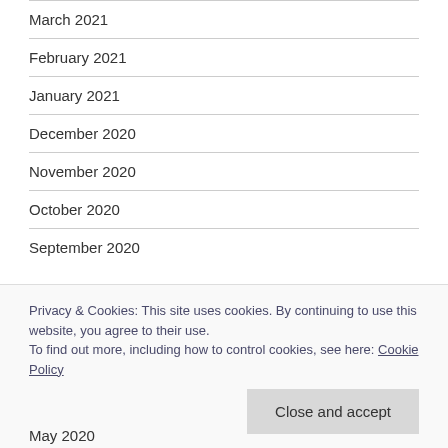March 2021
February 2021
January 2021
December 2020
November 2020
October 2020
September 2020
Privacy & Cookies: This site uses cookies. By continuing to use this website, you agree to their use.
To find out more, including how to control cookies, see here: Cookie Policy
May 2020